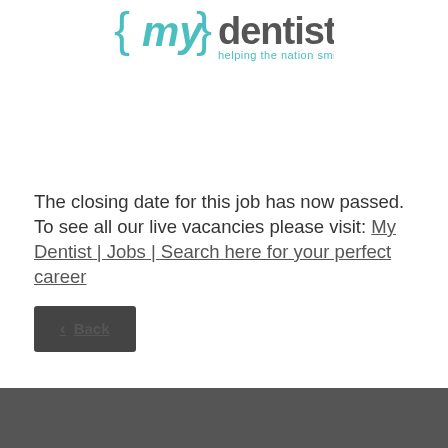[Figure (logo): myDentist logo with text 'helping the nation smile' in teal/dark gray]
The closing date for this job has now passed. To see all our live vacancies please visit: My Dentist | Jobs | Search here for your perfect career
< Back